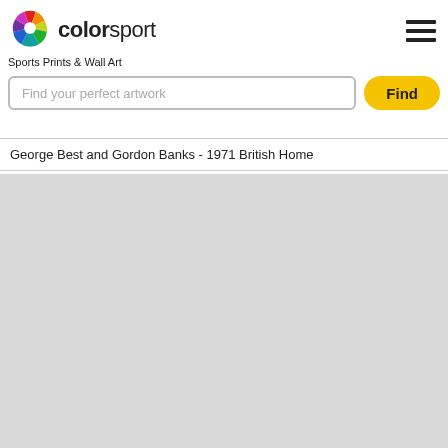[Figure (logo): Colorsport pinwheel logo with colored segments and text 'colorsport']
Sports Prints & Wall Art
Find your perfect artwork
Find
George Best and Gordon Banks - 1971 British Home
(678) 701-8254 (USA)
Click the flags to change to one of our USA, UK or Australian stores